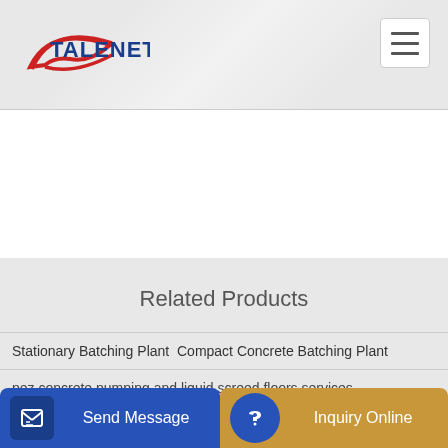TALENET
Related Products
Stationary Batching Plant Compact Concrete Batching Plant
pez concrete pumping and liquid screed floors services
mping
Send Message | Inquiry Online